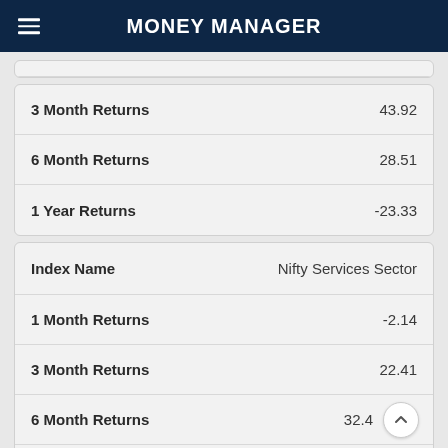Money Manager
|  |  |
| --- | --- |
| 3 Month Returns | 43.92 |
| 6 Month Returns | 28.51 |
| 1 Year Returns | -23.33 |
| Index Name | Nifty Services Sector |
| --- | --- |
| 1 Month Returns | -2.14 |
| 3 Month Returns | 22.41 |
| 6 Month Returns | 32.4... |